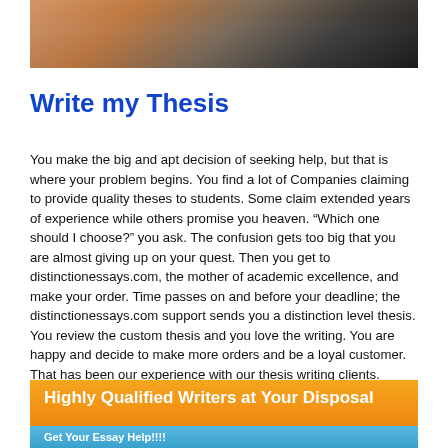[Figure (photo): Top portion of a photo showing people, partially visible at the top of the page]
Write my Thesis
You make the big and apt decision of seeking help, but that is where your problem begins. You find a lot of Companies claiming to provide quality theses to students. Some claim extended years of experience while others promise you heaven. “Which one should I choose?” you ask. The confusion gets too big that you are almost giving up on your quest. Then you get to distinctionessays.com, the mother of academic excellence, and make your order. Time passes on and before your deadline; the distinctionessays.com support sends you a distinction level thesis. You review the custom thesis and you love the writing. You are happy and decide to make more orders and be a loyal customer. That has been our experience with our thesis writing clients.
[Figure (photo): Orange banner with text 'Highly Qualified Writers at Your Disposal' and a blue strip at the bottom showing partial image of people]